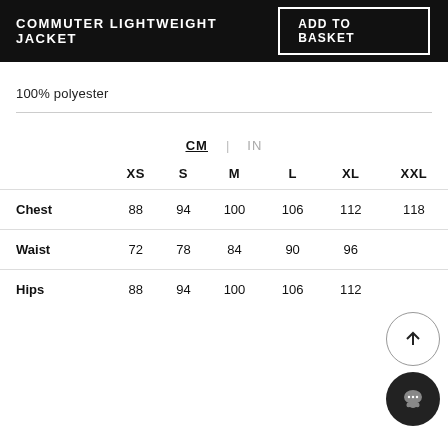COMMUTER LIGHTWEIGHT JACKET | ADD TO BASKET
100% polyester
|  | XS | S | M | L | XL | XXL |
| --- | --- | --- | --- | --- | --- | --- |
| Chest | 88 | 94 | 100 | 106 | 112 | 118 |
| Waist | 72 | 78 | 84 | 90 | 96 |  |
| Hips | 88 | 94 | 100 | 106 | 112 |  |